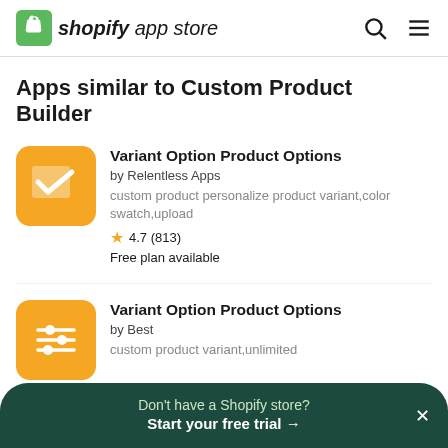shopify app store
Apps similar to Custom Product Builder
Variant Option Product Options
by Relentless Apps
custom product personalize product variant,color swatch,upload
4.7 (813)
Free plan available
Variant Option Product Options
by Best
custom product variant,unlimited
Don't have a Shopify store? Start your free trial →